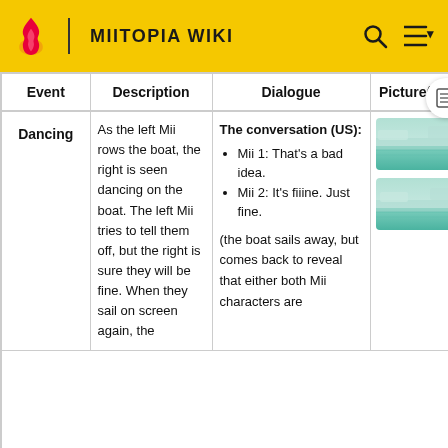MIITOPIA WIKI
| Event | Description | Dialogue | Picture(s) |
| --- | --- | --- | --- |
| Dancing | As the left Mii rows the boat, the right is seen dancing on the boat. The left Mii tries to tell them off, but the right is sure they will be fine. When they sail on screen again, the | The conversation (US): • Mii 1: That's a bad idea. • Mii 2: It's fiiine. Just fine. (the boat sails away, but comes back to reveal that either both Mii characters are | [image 1] [image 2] |